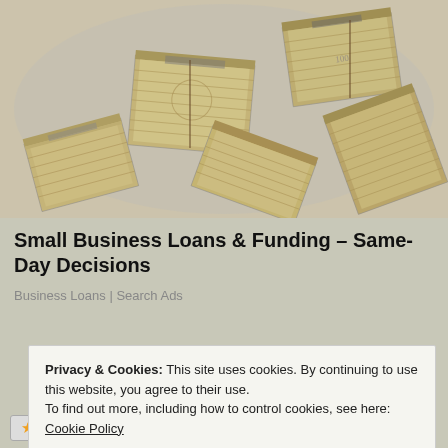[Figure (photo): Overhead photo of many bundled stacks of US dollar bills piled together]
Small Business Loans & Funding – Same-Day Decisions
Business Loans | Search Ads
Privacy & Cookies: This site uses cookies. By continuing to use this website, you agree to their use.
To find out more, including how to control cookies, see here: Cookie Policy
Close and accept
[Figure (photo): Bottom bar with Like button (star icon) and a row of small user avatar thumbnails]